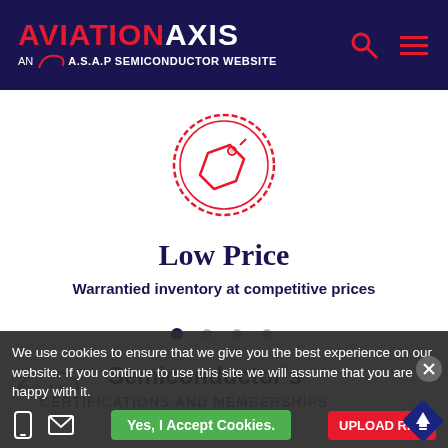AVIATION AXIS — AN A.S.A.P SEMICONDUCTOR WEBSITE
[Figure (illustration): Red price tag / badge icon inside a decorative circular border, outlined in red on white background]
Low Price
Warrantied inventory at competitive prices
[Figure (other): Four navigation dots, first dot filled dark, remaining three light gray]
[Figure (logo): A.S.A.P. Semiconductor logo with arc/wing graphic and italic text]
Semiconductor's
Certifications and Memberships
We use cookies to ensure that we give you the best experience on our website. If you continue to use this site we will assume that you are happy with it.
Yes, I Accept Cookies.
UPLOAD RFQ